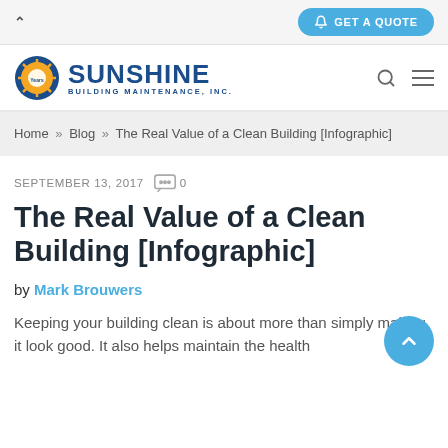GET A QUOTE
[Figure (logo): Sunshine Building Maintenance, Inc. logo with sun graphic]
Home » Blog » The Real Value of a Clean Building [Infographic]
SEPTEMBER 13, 2017   0
The Real Value of a Clean Building [Infographic]
by Mark Brouwers
Keeping your building clean is about more than simply making it look good. It also helps maintain the health